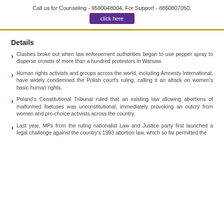Call us for Counseling - 9580048004, For Support - 8860807050.
click here
Details
Clashes broke out when law enforcement authorities began to use pepper spray to disperse crowds of more than a hundred protestors in Warsaw.
Human rights activists and groups across the world, including Amnesty International, have widely condemned the Polish court's ruling, calling it an attack on women's basic human rights.
Poland's Constitutional Tribunal ruled that an existing law allowing abortions of malformed foetuses was unconstitutional, immediately provoking an outcry from women and pro-choice activists across the country.
Last year, MPs from the ruling nationalist Law and Justice party first launched a legal challenge against the country's 1993 abortion law, which so far permitted the